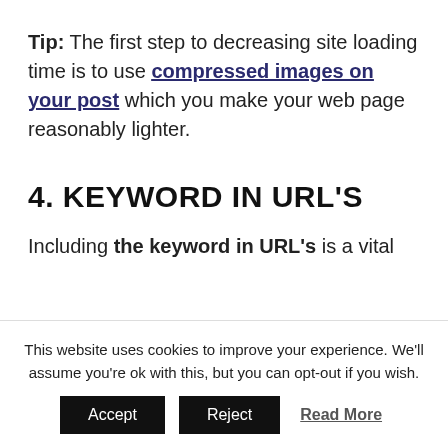Tip: The first step to decreasing site loading time is to use compressed images on your post which you make your web page reasonably lighter.
4. KEYWORD IN URL'S
Including the keyword in URL's is a vital
This website uses cookies to improve your experience. We'll assume you're ok with this, but you can opt-out if you wish.